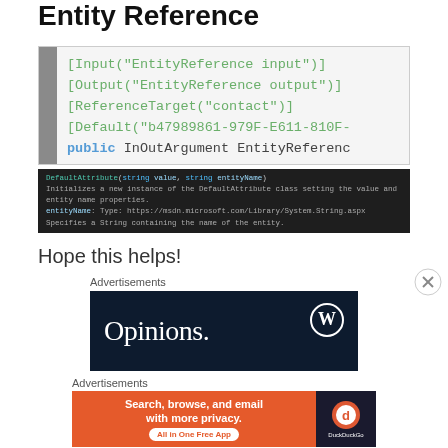Entity Reference
[Figure (screenshot): Code block showing C# attributes: [Input("EntityReference input")], [Output("EntityReference output")], [ReferenceTarget("contact")], [Default("b47989861-979F-E611-810F-")], public InOutArgument EntityReference, with a dark tooltip bar below showing DefaultAttribute(string value, string entityName) constructor signature]
Hope this helps!
Advertisements
[Figure (screenshot): WordPress advertisement banner with dark navy background showing WordPress logo and text 'Opinions.']
Advertisements
[Figure (screenshot): DuckDuckGo advertisement: orange background with text 'Search, browse, and email with more privacy. All in One Free App' and DuckDuckGo logo on dark right panel]